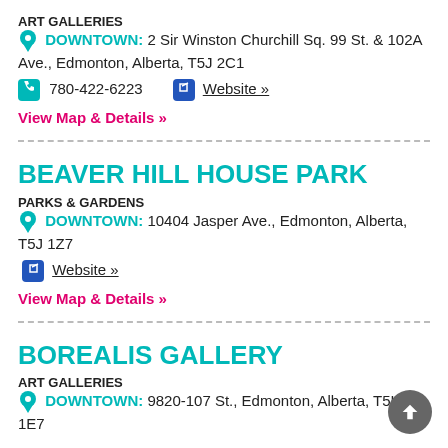ART GALLERIES
DOWNTOWN: 2 Sir Winston Churchill Sq. 99 St. & 102A Ave., Edmonton, Alberta, T5J 2C1
780-422-6223   Website »
View Map & Details »
BEAVER HILL HOUSE PARK
PARKS & GARDENS
DOWNTOWN: 10404 Jasper Ave., Edmonton, Alberta, T5J 1Z7
Website »
View Map & Details »
BOREALIS GALLERY
ART GALLERIES
DOWNTOWN: 9820-107 St., Edmonton, Alberta, T5K 1E7